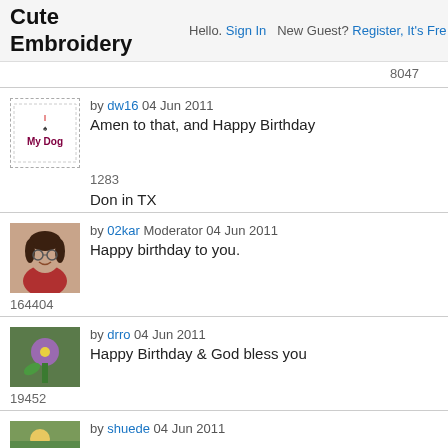Cute Embroidery | Hello. Sign In  New Guest? Register, It's Free
8047
by dw16 04 Jun 2011
Amen to that, and Happy Birthday
Don in TX
1283
by 02kar Moderator 04 Jun 2011
Happy birthday to you.
164404
by drro 04 Jun 2011
Happy Birthday & God bless you
19452
by shuede 04 Jun 2011